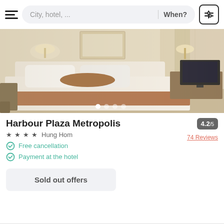City, hotel, ...   When?
[Figure (photo): Hotel room photo showing a double bed with white and brown linens, wall lamps, TV on desk, curtained windows — warm beige tones. Carousel with 4 dots (first active).]
Harbour Plaza Metropolis
4.2/5
74 Reviews
★ ★ ★ ★  Hung Hom
Free cancellation
Payment at the hotel
Sold out offers